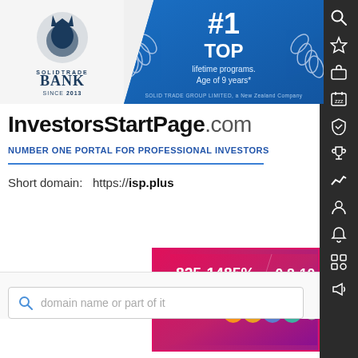[Figure (logo): SolidTrade Bank logo with lion emblem, text SOLIDTRADE BANK SINCE 2013]
[Figure (infographic): #1 TOP lifetime programs. Age of 9 years*. SOLID TRADE GROUP LIMITED, a New Zealand Company. Blue banner with laurel wreath.]
InvestorsStartPage.com
NUMBER ONE PORTAL FOR PROFESSIONAL INVESTORS
Short domain:  https://isp.plus
[Figure (infographic): Ad banner: 825-1485% AFTER 15 DAYS | 0.8-10 DAILY PAYC... ACCEPT: Bitcoin, Ethereum, Litecoin, Tron and other crypto coins]
domain name or part of it